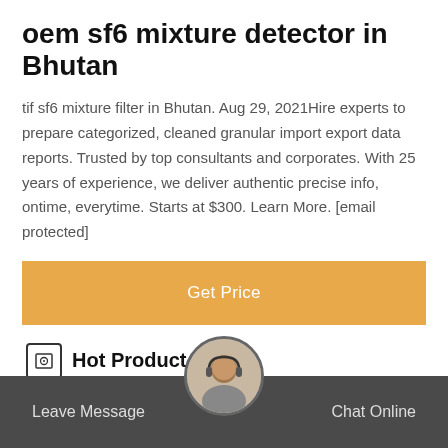oem sf6 mixture detector in Bhutan
tif sf6 mixture filter in Bhutan. Aug 29, 2021Hire experts to prepare categorized, cleaned granular import export data reports. Trusted by top consultants and corporates. With 25 years of experience, we deliver authentic precise info, ontime, everytime. Starts at $300. Learn More. [email protected]
Get Price
Hot Product
[Figure (photo): RA912 SF6 Gas Analyzer device photo]
RA912 SF6 Gas Analyzer
For deter...he quality of SF6 gas.
Leave Message   Chat Online